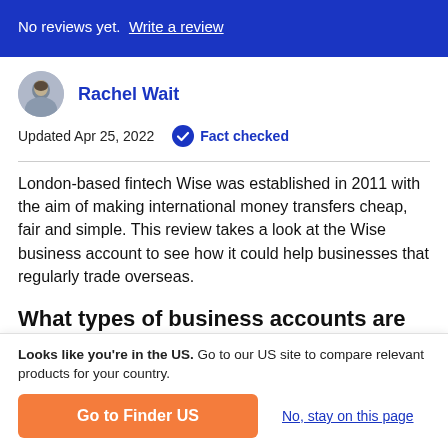No reviews yet.  Write a review
Rachel Wait
Updated Apr 25, 2022   Fact checked
London-based fintech Wise was established in 2011 with the aim of making international money transfers cheap, fair and simple. This review takes a look at the Wise business account to see how it could help businesses that regularly trade overseas.
What types of business accounts are on offer?
Looks like you're in the US. Go to our US site to compare relevant products for your country.
Go to Finder US
No, stay on this page